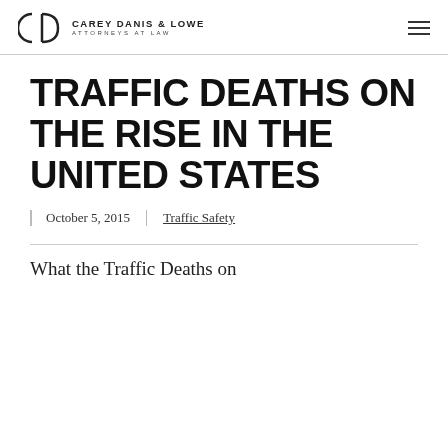CAREY DANIS & LOWE ATTORNEYS AT LAW
TRAFFIC DEATHS ON THE RISE IN THE UNITED STATES
October 5, 2015 | Traffic Safety
What the Traffic Deaths on